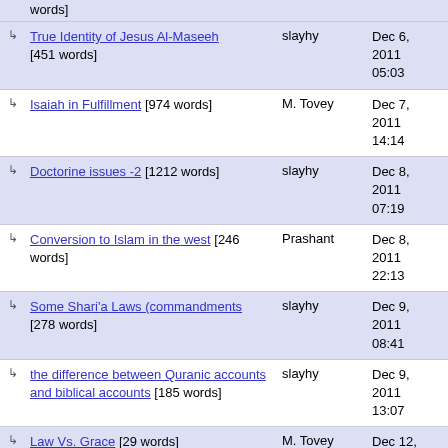words]
True Identity of Jesus Al-Maseeh [451 words] | slayhy | Dec 6, 2011 05:03
Isaiah in Fulfillment [974 words] | M. Tovey | Dec 7, 2011 14:14
Doctorine issues -2 [1212 words] | slayhy | Dec 8, 2011 07:19
Conversion to Islam in the west [246 words] | Prashant | Dec 8, 2011 22:13
Some Shari'a Laws (commandments [278 words] | slayhy | Dec 9, 2011 08:41
the difference between Quranic accounts and biblical accounts [185 words] | slayhy | Dec 9, 2011 13:07
Law Vs. Grace [29 words] | M. Tovey | Dec 12, 2011 11:54
Biblical Accounts - Being Readied for Examination [177 words] | M. Tovey | Dec 12, 2011 16:58